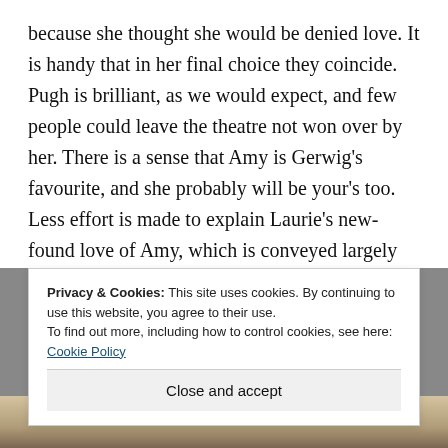because she thought she would be denied love. It is handy that in her final choice they coincide. Pugh is brilliant, as we would expect, and few people could leave the theatre not won over by her. There is a sense that Amy is Gerwig's favourite, and she probably will be your's too. Less effort is made to explain Laurie's new-found love of Amy, which is conveyed largely through jealousy and long glances, but perhaps we are left to think 'who could not love her?'
Privacy & Cookies: This site uses cookies. By continuing to use this website, you agree to their use. To find out more, including how to control cookies, see here: Cookie Policy
Close and accept
[Figure (photo): Bottom strip showing a photo, partially visible]